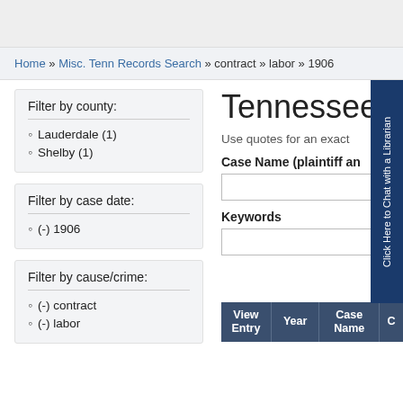Home » Misc. Tenn Records Search » contract » labor » 1906
Filter by county:
Lauderdale (1)
Shelby (1)
Filter by case date:
(-) 1906
Filter by cause/crime:
(-) contract
(-) labor
Tennessee S
Use quotes for an exact
Case Name (plaintiff an
Keywords
| View Entry | Year | Case Name | C |
| --- | --- | --- | --- |